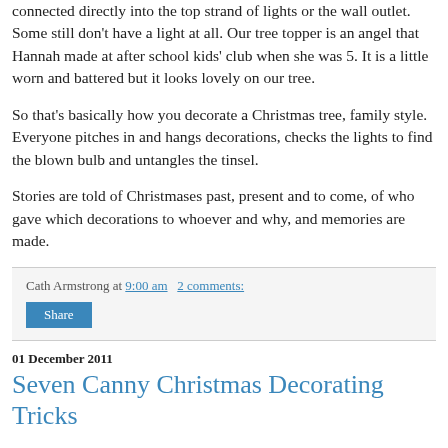connected directly into the top strand of lights or the wall outlet. Some still don't have a light at all. Our tree topper is an angel that Hannah made at after school kids' club when she was 5. It is a little worn and battered but it looks lovely on our tree.
So that's basically how you decorate a Christmas tree, family style. Everyone pitches in and hangs decorations, checks the lights to find the blown bulb and untangles the tinsel.
Stories are told of Christmases past, present and to come, of who gave which decorations to whoever and why, and memories are made.
Cath Armstrong at 9:00 am   2 comments:
Share
01 December 2011
Seven Canny Christmas Decorating Tricks